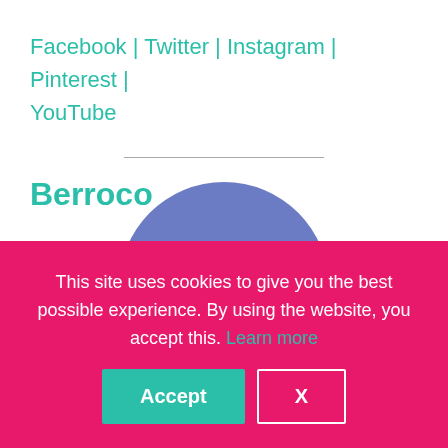Facebook | Twitter | Instagram | Pinterest | YouTube
Berroco
[Figure (illustration): Blue semicircle/dome shape visible at bottom of upper content area]
This site uses cookies to give you the best possible experience. By using the website, you accept this. Learn more
Accept
X